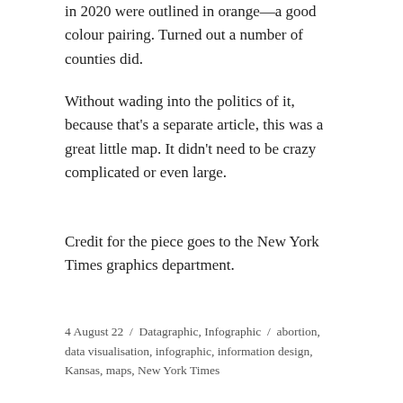in 2020 were outlined in orange—a good colour pairing. Turned out a number of counties did.
Without wading into the politics of it, because that's a separate article, this was a great little map. It didn't need to be crazy complicated or even large.
Credit for the piece goes to the New York Times graphics department.
4 August 22 / Datagraphic, Infographic / abortion, data visualisation, infographic, information design, Kansas, maps, New York Times